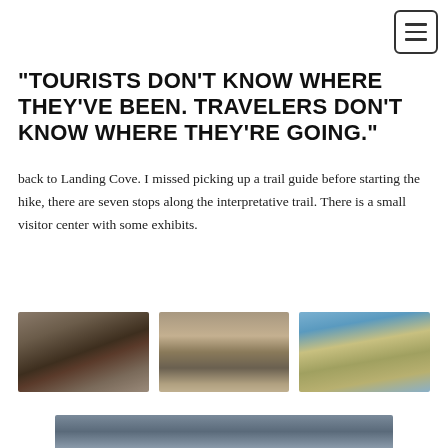"TOURISTS DON'T KNOW WHERE THEY'VE BEEN. TRAVELERS DON'T KNOW WHERE THEY'RE GOING."
back to Landing Cove. I missed picking up a trail guide before starting the hike, there are seven stops along the interpretative trail. There is a small visitor center with some exhibits.
[Figure (photo): Photo of a wooden structure/sign at Landing Cove national park area]
[Figure (photo): Photo of a bird perched on a wooden post in a rocky area]
[Figure (photo): Photo of a lighthouse and building on open grassland with ocean and blue sky]
[Figure (photo): Photo of a coastal hillside/cliff landscape]